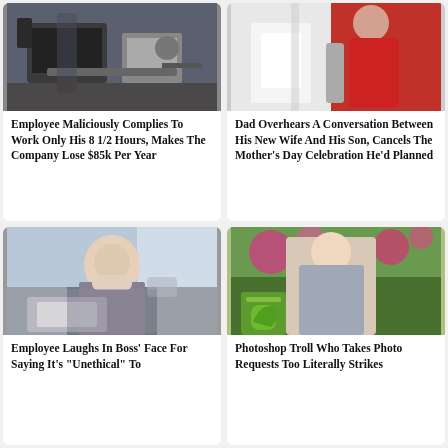[Figure (photo): Person working at industrial printing/manufacturing machine]
Employee Maliciously Complies To Work Only His 8 1/2 Hours, Makes The Company Lose $85k Per Year
[Figure (photo): Person in red outfit holding a pole or railing]
Dad Overhears A Conversation Between His New Wife And His Son, Cancels The Mother's Day Celebration He'd Planned
[Figure (photo): Woman in business attire sitting at laptop, looking stressed]
Employee Laughs In Boss' Face For Saying It's "Unethical" To
[Figure (photo): Blonde woman in garden dress holding green watering can among flowers]
Photoshop Troll Who Takes Photo Requests Too Literally Strikes